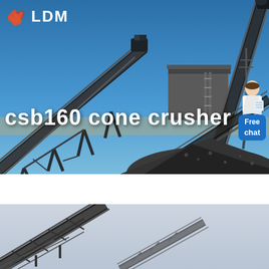[Figure (photo): Industrial conveyor belt system and cone crusher machinery at a mining/quarrying site, viewed under blue sky with dark steel structures and piled crushed rock material in foreground. LDM logo with orange hand icon top-left. Free chat assistant bubble bottom-right.]
csb160 cone crusher
[Figure (photo): Close-up of steel conveyor belt framework at angle against pale sky, lower portion of page.]